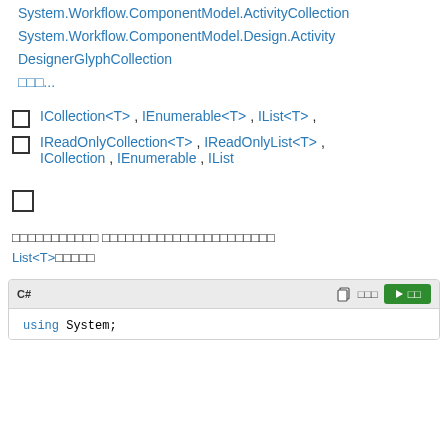System.Workflow.Activities.WorkflowRoleCollection
System.Workflow.ComponentModel.ActivityCollection
System.Workflow.ComponentModel.Design.ActivityDesignerGlyphCollection
□□□...
ICollection<T>, IEnumerable<T>, IList<T>,
IReadOnlyCollection<T>, IReadOnlyList<T>, ICollection, IEnumerable, IList
□
□□□□□□□□□□□ □□□□□□□□□□□□□□□□□□□□□□ List<T>□□□□□
[Figure (screenshot): Code block with C# label, copy and run buttons in toolbar, and 'using System;' code line visible]
using System;